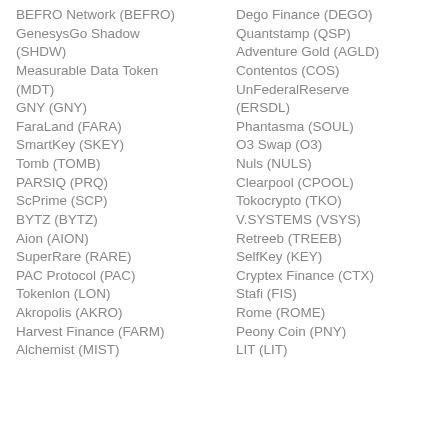BEFRO Network (BEFRO)
Dego Finance (DEGO)
GenesysGo Shadow (SHDW)
Quantstamp (QSP)
Adventure Gold (AGLD)
Measurable Data Token (MDT)
Contentos (COS)
UnFederalReserve (ERSDL)
GNY (GNY)
Phantasma (SOUL)
FaraLand (FARA)
O3 Swap (O3)
SmartKey (SKEY)
Nuls (NULS)
Tomb (TOMB)
Clearpool (CPOOL)
PARSIQ (PRQ)
Tokocrypto (TKO)
ScPrime (SCP)
V.SYSTEMS (VSYS)
BYTZ (BYTZ)
Retreeb (TREEB)
Aion (AION)
SelfKey (KEY)
SuperRare (RARE)
Cryptex Finance (CTX)
PAC Protocol (PAC)
Stafi (FIS)
Tokenlon (LON)
Rome (ROME)
Akropolis (AKRO)
Peony Coin (PNY)
Harvest Finance (FARM)
LIT (LIT)
Alchemist (MIST)